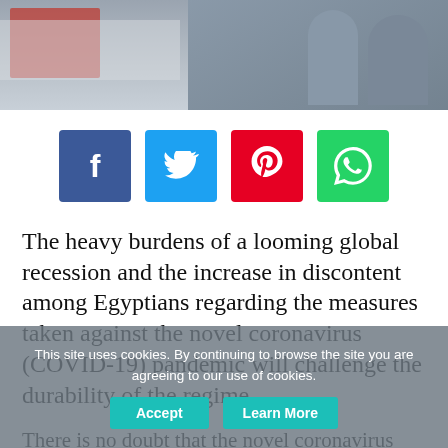[Figure (photo): Photo banner showing people in outdoor setting, partially visible at top of page]
[Figure (infographic): Social sharing buttons: Facebook (blue), Twitter (cyan), Pinterest (red), WhatsApp (green)]
The heavy burdens of a looming global recession and the increase in discontent among Egyptians regarding the measures taken against the novel coronavirus (COVID-19) pandemic will challenge the durability of the regime
There is no doubt that the novel coronavirus (COVID-19) pandemic will put the economies across the world to a stress test. As with infected human bodies, some of these economies will be much faster at overcoming the economic crisis
This site uses cookies. By continuing to browse the site you are agreeing to our use of cookies.